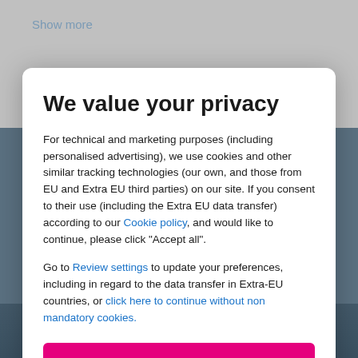Show more
We value your privacy
For technical and marketing purposes (including personalised advertising), we use cookies and other similar tracking technologies (our own, and those from EU and Extra EU third parties) on our site. If you consent to their use (including the Extra EU data transfer) according to our Cookie policy, and would like to continue, please click "Accept all".
Go to Review settings to update your preferences, including in regard to the data transfer in Extra-EU countries, or click here to continue without non mandatory cookies.
ACCEPT ALL
Rodeway Inn Fort Smith Area Hotel